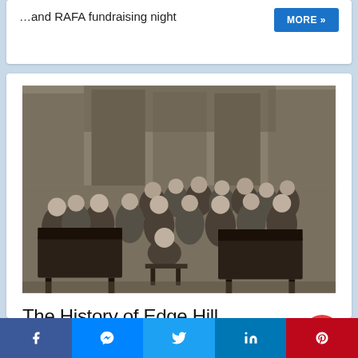…and RAFA fundraising night
[Figure (photo): Black and white historical photograph of a group of women posing in an ornate hall with a person seated at a piano in the foreground, likely from the 1930s.]
The History of Edge Hill
Janet Fairclough
Facebook | Messenger | Twitter | LinkedIn | Pinterest